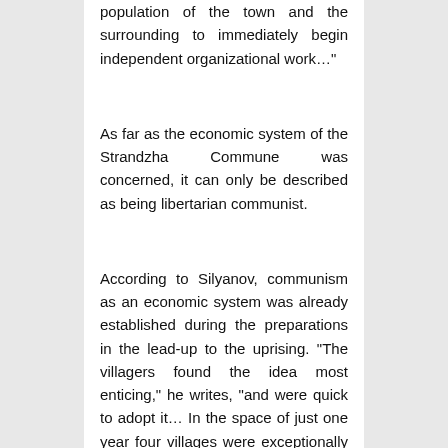population of the town and the surrounding to immediately begin independent organizational work…"
As far as the economic system of the Strandzha Commune was concerned, it can only be described as being libertarian communist.
According to Silyanov, communism as an economic system was already established during the preparations in the lead-up to the uprising. "The villagers found the idea most enticing," he writes, "and were quick to adopt it… In the space of just one year four villages were exceptionally well organized along communal lines. The